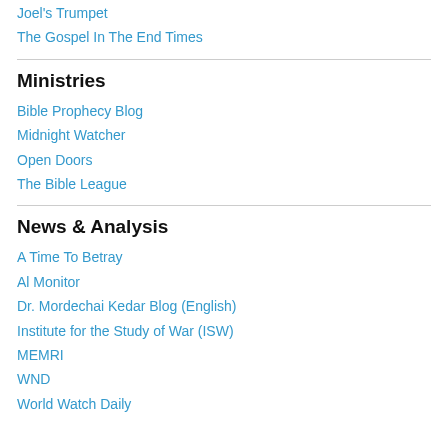Joel's Trumpet
The Gospel In The End Times
Ministries
Bible Prophecy Blog
Midnight Watcher
Open Doors
The Bible League
News & Analysis
A Time To Betray
Al Monitor
Dr. Mordechai Kedar Blog (English)
Institute for the Study of War (ISW)
MEMRI
WND
World Watch Daily